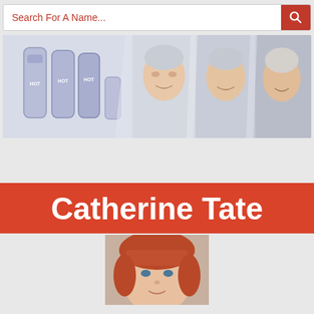Search For A Name...
[Figure (photo): Advertisement banner showing hair care products (HOT brand bottles) on the left and three smiling older women with grey/white hair on the right, on a light grey background]
Catherine Tate
[Figure (photo): Portrait photo of Catherine Tate, a woman with red/auburn hair with bangs, photographed at a public event]